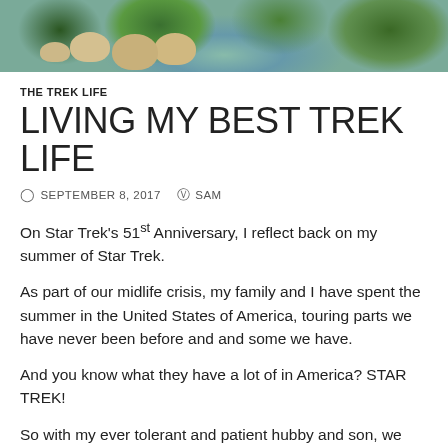[Figure (photo): Decorative banner photo showing lush green mossy rocks and stones near water with greenery in the background]
THE TREK LIFE
LIVING MY BEST TREK LIFE
SEPTEMBER 8, 2017   SAM
On Star Trek's 51st Anniversary, I reflect back on my summer of Star Trek.
As part of our midlife crisis, my family and I have spent the summer in the United States of America, touring parts we have never been before and and some we have.
And you know what they have a lot of in America? STAR TREK!
So with my ever tolerant and patient hubby and son, we scheduled in plenty of trekkie goodness into the trip.